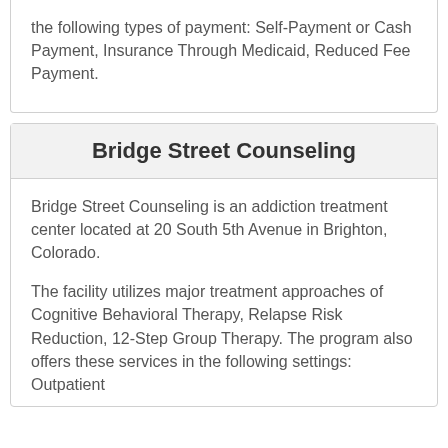the following types of payment: Self-Payment or Cash Payment, Insurance Through Medicaid, Reduced Fee Payment.
Bridge Street Counseling
Bridge Street Counseling is an addiction treatment center located at 20 South 5th Avenue in Brighton, Colorado.
The facility utilizes major treatment approaches of Cognitive Behavioral Therapy, Relapse Risk Reduction, 12-Step Group Therapy. The program also offers these services in the following settings: Outpatient